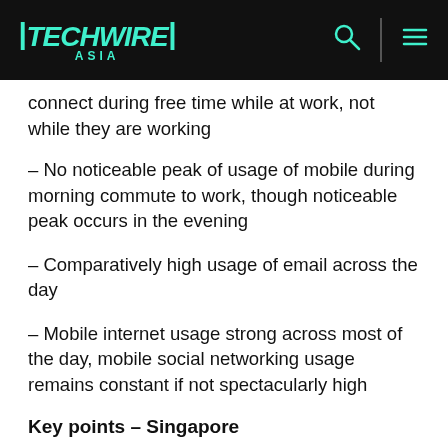TECHWIRE ASIA
connect during free time while at work, not while they are working
– No noticeable peak of usage of mobile during morning commute to work, though noticeable peak occurs in the evening
– Comparatively high usage of email across the day
– Mobile internet usage strong across most of the day, mobile social networking usage remains constant if not spectacularly high
Key points – Singapore
– Commuters make great use of SMS, location-based